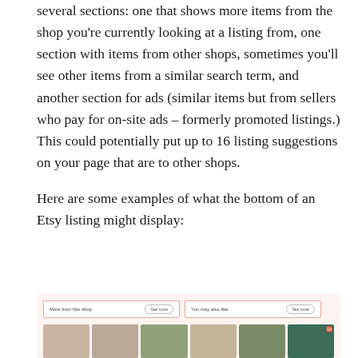several sections: one that shows more items from the shop you're currently looking at a listing from, one section with items from other shops, sometimes you'll see other items from a similar search term, and another section for ads (similar items but from sellers who pay for on-site ads – formerly promoted listings.) This could potentially put up to 16 listing suggestions on your page that are to other shops.

Here are some examples of what the bottom of an Etsy listing might display:
[Figure (screenshot): Screenshot showing the bottom of an Etsy listing page with sections labeled 'More from this shop' and 'You may also like', each with a 'See more' button, and thumbnail images of products below.]